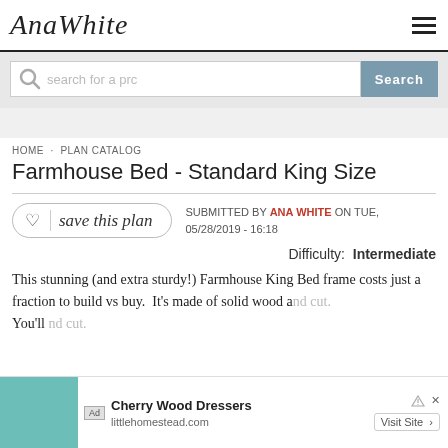AnaWhite
[Figure (screenshot): Search bar with magnifying glass icon, placeholder text 'search for a pro', and a gray 'Search' button]
HOME · PLAN CATALOG
Farmhouse Bed - Standard King Size
SUBMITTED BY ANA WHITE ON TUE, 05/28/2019 - 16:18
Difficulty: Intermediate
This stunning (and extra sturdy!) Farmhouse King Bed frame costs just a fraction to build vs buy. It's made of solid wood and cut.
[Figure (screenshot): Ad overlay: Cherry Wood Dressers from littlehomestead.com with a Visit Site button]